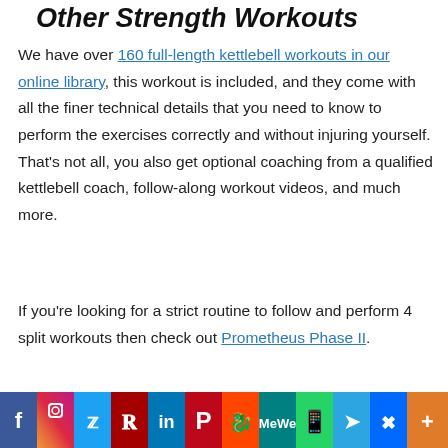Other Strength Workouts
We have over 160 full-length kettlebell workouts in our online library, this workout is included, and they come with all the finer technical details that you need to know to perform the exercises correctly and without injuring yourself. That's not all, you also get optional coaching from a qualified kettlebell coach, follow-along workout videos, and much more.
If you're looking for a strict routine to follow and perform 4 split workouts then check out Prometheus Phase II.